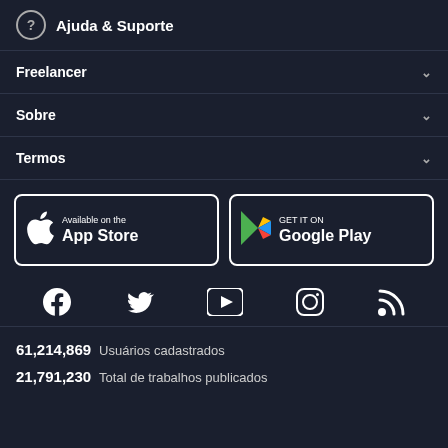Ajuda & Suporte
Freelancer
Sobre
Termos
[Figure (screenshot): App Store and Google Play download buttons]
[Figure (infographic): Social media icons: Facebook, Twitter, YouTube, Instagram, RSS]
61,214,869  Usuários cadastrados
21,791,230  Total de trabalhos publicados